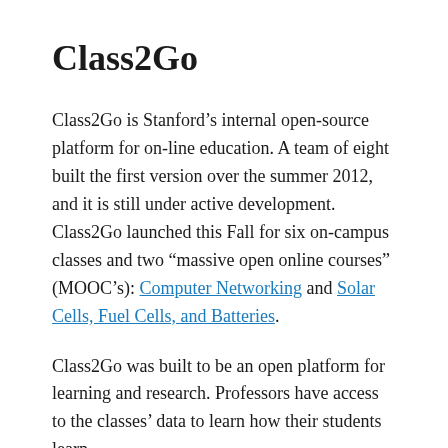Class2Go
Class2Go is Stanford’s internal open-source platform for on-line education. A team of eight built the first version over the summer 2012, and it is still under active development. Class2Go launched this Fall for six on-campus classes and two “massive open online courses” (MOOC’s): Computer Networking and Solar Cells, Fuel Cells, and Batteries.
Class2Go was built to be an open platform for learning and research. Professors have access to the classes’ data to learn how their students learn.